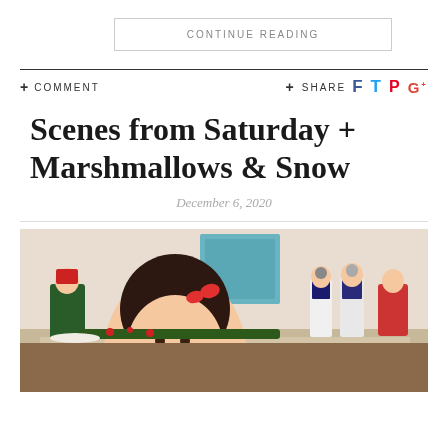CONTINUE READING
+ COMMENT
+ SHARE
Scenes from Saturday + Marshmallows & Snow
December 6, 2020
[Figure (photo): A girl with a red bow in her hair smiling, with Christmas nutcracker decorations and a Santa figurine on a shelf behind her]